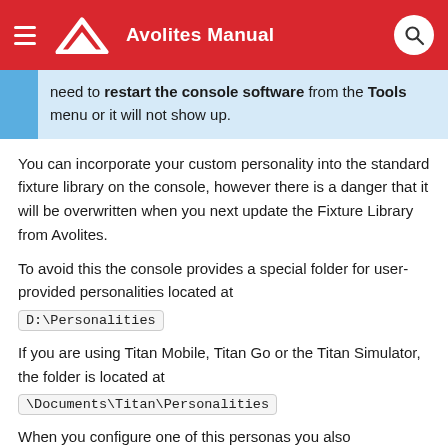Avolites Manual
need to restart the console software from the Tools menu or it will not show up.
You can incorporate your custom personality into the standard fixture library on the console, however there is a danger that it will be overwritten when you next update the Fixture Library from Avolites.
To avoid this the console provides a special folder for user-provided personalities located at D:\Personalities
If you are using Titan Mobile, Titan Go or the Titan Simulator, the folder is located at \Documents\Titan\Personalities
When you configure one of this personas you also